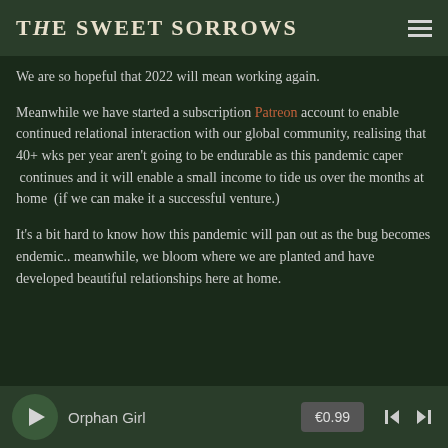THE SWEET SORROWS
We are so hopeful that 2022 will mean working again.
Meanwhile we have started a subscription Patreon account to enable continued relational interaction with our global community, realising that 40+ wks per year aren't going to be endurable as this pandemic caper  continues and it will enable a small income to tide us over the months at home  (if we can make it a successful venture.)
It's a bit hard to know how this pandemic will pan out as the bug becomes endemic.. meanwhile, we bloom where we are planted and have developed beautiful relationships here at home.
Orphan Girl  €0.99